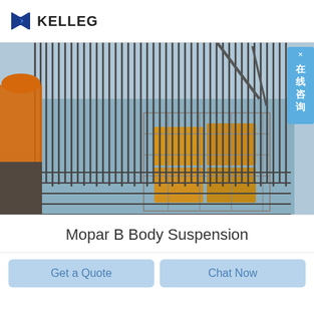[Figure (logo): KELLEG company logo with blue bow-tie/diamond icon and bold black text KELLEG]
[Figure (photo): Construction site photo showing steel rebar grid in foreground with yellow scaffolding and concrete formwork structure behind, worker in orange vest visible on left side, Chinese chat widget overlay in top-right corner]
Mopar B Body Suspension